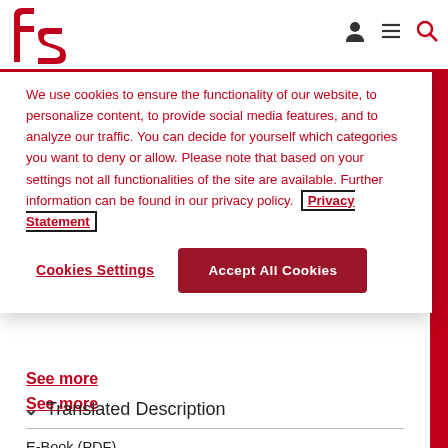[Figure (logo): fs logo in red with stylized letters]
We use cookies to ensure the functionality of our website, to personalize content, to provide social media features, and to analyze our traffic. You can decide for yourself which categories you want to deny or allow. Please note that based on your settings not all functionalities of the site are available. Further information can be found in our privacy policy. Privacy Statement
Cookies Settings
Accept All Cookies
See more
Translated Description
E-Book (PDF)
Availability: Published
ISBN: 978-3-657-79266-5
Publication date: N...